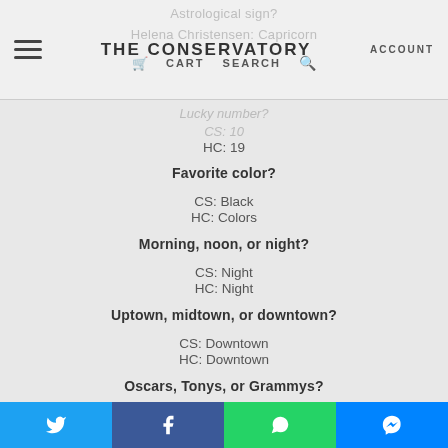THE CONSERVATORY  ACCOUNT  CART  SEARCH
Astrological sign?
Helena Christensen: Capricorn
Lucky number?
CS: 10
HC: 19
Favorite color?
CS: Black
HC: Colors
Morning, noon, or night?
CS: Night
HC: Night
Uptown, midtown, or downtown?
CS: Downtown
HC: Downtown
Oscars, Tonys, or Grammys?
CS: Oscars
HC: Oscars
Twitter  Facebook  WhatsApp  Messenger